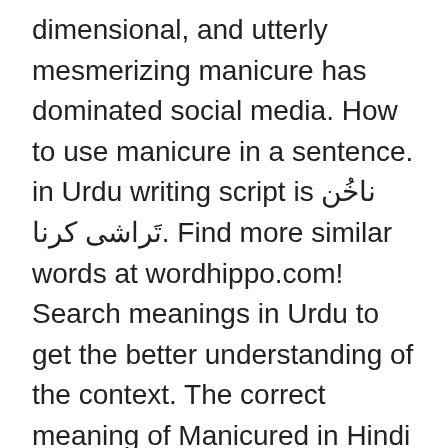dimensional, and utterly mesmerizing manicure has dominated social media. How to use manicure in a sentence. in Urdu writing script is ناخُن تَراشی کرنا. Find more similar words at wordhippo.com! Search meanings in Urdu to get the better understanding of the context. The correct meaning of Manicured in Hindi is . which means "ہاتھ اور ناخن کی صفائی اور رنگائی" Consulted Meaning In Urdu Consulted Meaning in English to Urdu is مشورہ دیا, as written in Urdu and Mashwarah Diya, as written in Roman Urdu. Sajeela is a Muslim Girl name, Sajeela name meaning is manicured woman and the lucky number associated with Sajeela is 9. Similar words of Manicured Apr 27, 2015 - Explore Mehreen Khan's board "Funny Jokes / SMS in Urdu" on Pinterest. Find Sajeela multiple name meanings and name pronunciation in English, Arabic and Urdu. Pronunciation of Manicured in roman Urdu is